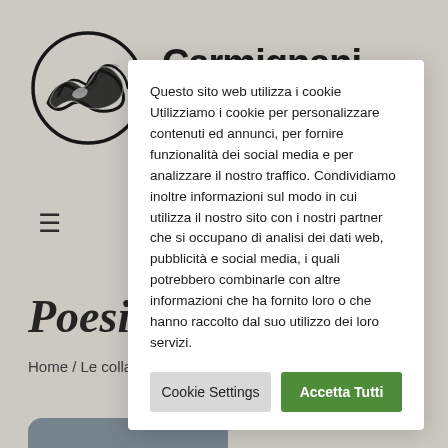[Figure (logo): Circular logo with a stylized wave in black and white]
Carmignani
≡
Poesia
Home / Le collar
Questo sito web utilizza i cookie Utilizziamo i cookie per personalizzare contenuti ed annunci, per fornire funzionalità dei social media e per analizzare il nostro traffico. Condividiamo inoltre informazioni sul modo in cui utilizza il nostro sito con i nostri partner che si occupano di analisi dei dati web, pubblicità e social media, i quali potrebbero combinarle con altre informazioni che ha fornito loro o che hanno raccolto dal suo utilizzo dei loro servizi.
Cookie Settings
Accetta Tutti